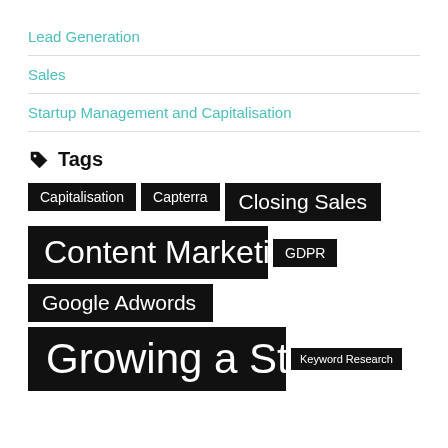Lead Generation
Sales
Startup Management and Capitalisation
Tags
Capitalisation Capterra Closing Sales Content Marketing GDPR Google Adwords Growing a Startup Keyword Research